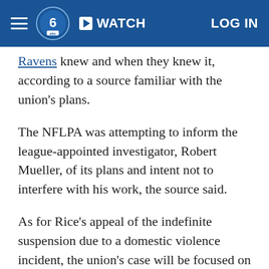WATCH | LOG IN
Ravens knew and when they knew it, according to a source familiar with the union's plans.
The NFLPA was attempting to inform the league-appointed investigator, Robert Mueller, of its plans and intent not to interfere with his work, the source said.
As for Rice's appeal of the indefinite suspension due to a domestic violence incident, the union's case will be focused on what it believes is a failure of due process and double jeopardy. The union is in conversations with the league regarding the appeals process and expects to know later this week who commissioner Roger Goodell will appoint to hear the